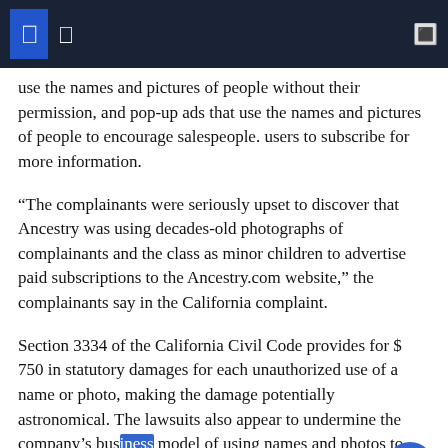use the names and pictures of people without their permission, and pop-up ads that use the names and pictures of people to encourage salespeople. users to subscribe for more information.
“The complainants were seriously upset to discover that Ancestry was using decades-old photographs of complainants and the class as minor children to advertise paid subscriptions to the Ancestry.com website,” the complainants say in the California complaint.
Section 3334 of the California Civil Code provides for $ 750 in statutory damages for each unauthorized use of a name or photo, making the damage potentially astronomical. The lawsuits also appear to undermine the company’s business model of using names and photos to confirm the identity of